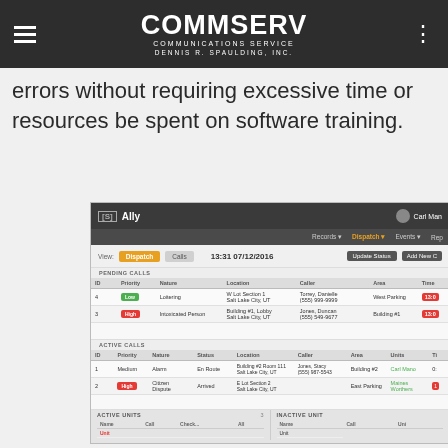COMMSERV COMMUNICATIONS SERVICE DENNIS R. SPAULDING, INC.
errors without requiring excessive time or resources be spent on software training.
[Figure (screenshot): Screenshot of CommServ Ally dispatch software showing navigation bar, pending calls and active calls tables with dispatch data including IDs, priorities, natures, locations, callers, areas, and times. Also shows active units and inactive units sections at bottom.]